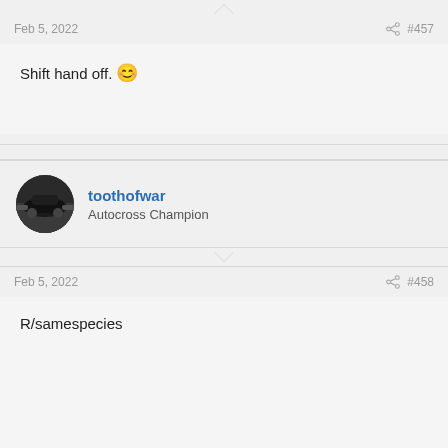Feb 5, 2022  #457
Shift hand off. 😊
toothofwar
Autocross Champion
Feb 5, 2022  #458
R/samespecies